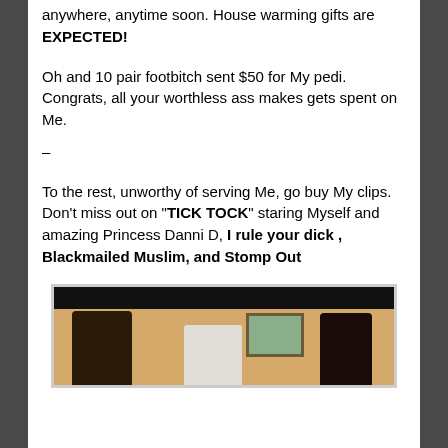anywhere, anytime soon. House warming gifts are EXPECTED!
Oh and 10 pair footbitch sent $50 for My pedi. Congrats, all your worthless ass makes gets spent on Me.
–
To the rest, unworthy of serving Me, go buy My clips. Don't miss out on "TICK TOCK" staring Myself and amazing Princess Danni D, I rule your dick , Blackmailed Muslim, and Stomp Out
[Figure (photo): Photo showing two women and a man in a room, with a framed picture on the wall in the background.]